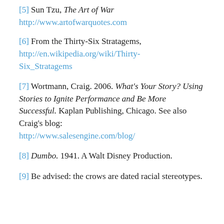[5] Sun Tzu, The Art of War http://www.artofwarquotes.com
[6] From the Thirty-Six Stratagems, http://en.wikipedia.org/wiki/Thirty-Six_Stratagems
[7] Wortmann, Craig. 2006. What's Your Story? Using Stories to Ignite Performance and Be More Successful. Kaplan Publishing, Chicago. See also Craig's blog: http://www.salesengine.com/blog/
[8] Dumbo. 1941. A Walt Disney Production.
[9] Be advised: the crows are dated racial stereotypes.